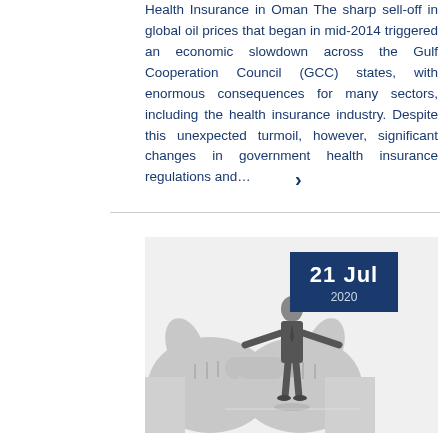Health Insurance in Oman The sharp sell-off in global oil prices that began in mid-2014 triggered an economic slowdown across the Gulf Cooperation Council (GCC) states, with enormous consequences for many sectors, including the health insurance industry. Despite this unexpected turmoil, however, significant changes in government health insurance regulations and…
[Figure (photo): A man in a suit standing between two large hands pointing at him with index fingers from either side, in black and white. A date badge overlay reads 21 Jul 2020.]